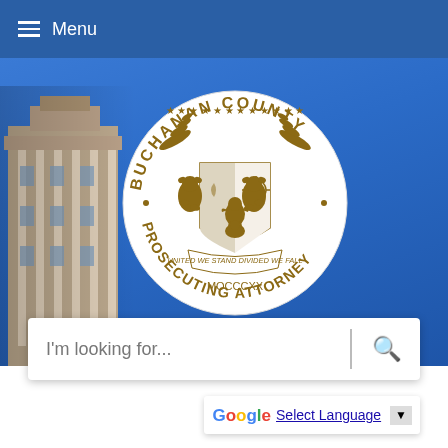Menu
[Figure (screenshot): Buchanan County Prosecuting Attorney website screenshot showing the header with hamburger menu and 'Menu' label in a blue navigation bar, followed by a hero image of a blue sky with a government building on the left and the Buchanan County Prosecuting Attorney circular seal in the center-right. Below the hero is a search bar with placeholder 'I'm looking for...' and a Google Translate widget.]
I'm looking for...
Select Language